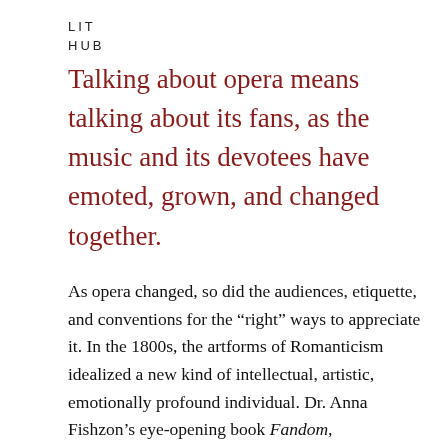LIT
HUB
Talking about opera means talking about its fans, as the music and its devotees have emoted, grown, and changed together.
As opera changed, so did the audiences, etiquette, and conventions for the “right” ways to appreciate it. In the 1800s, the artforms of Romanticism idealized a new kind of intellectual, artistic, emotionally profound individual. Dr. Anna Fishzon’s eye-opening book Fandom, Authenticity, and Opera: Mad Acts